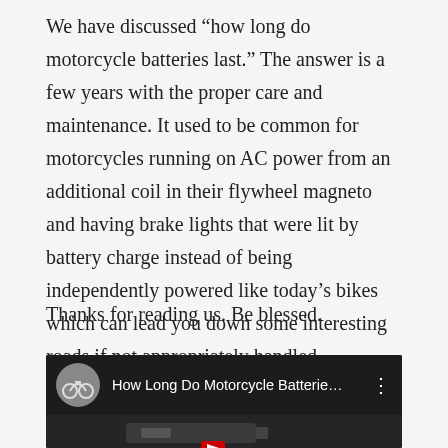We have discussed “how long do motorcycle batteries last.” The answer is a few years with the proper care and maintenance. It used to be common for motorcycles running on AC power from an additional coil in their flywheel magneto and having brake lights that were lit by battery charge instead of being independently powered like today’s bikes which can lead you down some interesting roads if not appropriately handled.
Thanks for reading us. Be blessed.
[Figure (screenshot): YouTube video embed showing title 'How Long Do Motorcycle Batterie...' with a motorcycle avatar icon, three-dot menu, and a dark thumbnail showing a motorcycle battery with a red play button.]